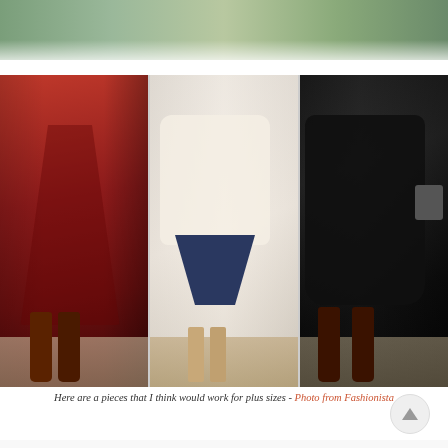[Figure (photo): Partial top image showing a green/teal colored surface, cropped at top of page]
[Figure (photo): Three fashion model photos side by side: left - model in red draped cape dress with dark brown tall boots; center - model in oversized cream sweater with navy blue wrap skirt and nude heels; right - model in black oversized dress with dark brown tall boots and small bag]
Here are a  pieces that I think would work for plus sizes - Photo from Fashionista